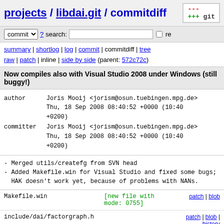projects / libdai.git / commitdiff
commit ? search: re
summary | shortlog | log | commit | commitdiff | tree
raw | patch | inline | side by side (parent: 572c72c)
Now compiles also with Visual Studio 2008 under Windows (still buggy!)
| field | value |
| --- | --- |
| author | Joris Mooij <jorism@osun.tuebingen.mpg.de>
Thu, 18 Sep 2008 08:40:52 +0000 (10:40 +0200) |
| committer | Joris Mooij <jorism@osun.tuebingen.mpg.de>
Thu, 18 Sep 2008 08:40:52 +0000 (10:40 +0200) |
- Merged utils/createfg from SVN head
- Added Makefile.win for Visual Studio and fixed some bugs; HAK doesn't work yet, because of problems with NANs.
| file | status | links |
| --- | --- | --- |
| Makefile.win | [new file with mode: 0755] | patch | blob |
| include/dai/factorgraph.h |  | patch | blob | history |
| include/dai/lc.h |  | patch | blob | |